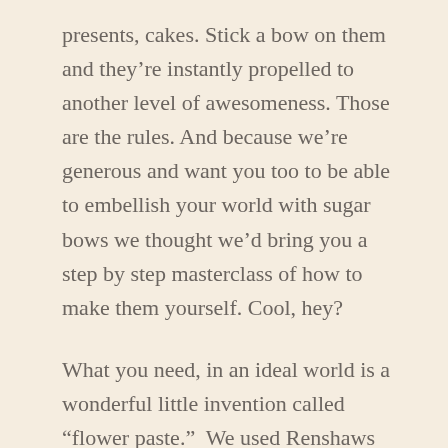presents, cakes. Stick a bow on them and they're instantly propelled to another level of awesomeness. Those are the rules. And because we're generous and want you too to be able to embellish your world with sugar bows we thought we'd bring you a step by step masterclass of how to make them yourself. Cool, hey?
What you need, in an ideal world is a wonderful little invention called "flower paste."  We used Renshaws but we're sure there are other brands out there